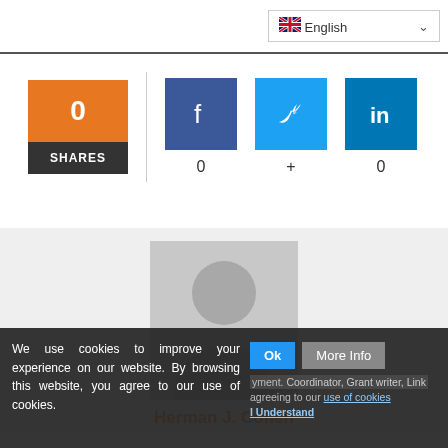[Figure (screenshot): Language selector dropdown showing UK flag and 'English' with dropdown arrow]
[Figure (infographic): Social share widget: orange box showing 0 SHARES, vertical divider, Facebook button (0), Twitter button (+), LinkedIn button (0)]
[Figure (photo): Generic grey placeholder avatar/profile image]
Herman J. Cohen
We use cookies to improve your experience on our website. By browsing this website, you agree to our use of cookies.
Ok
More Info